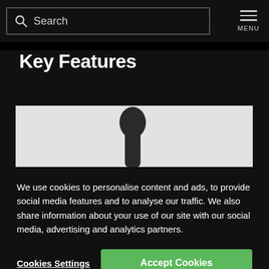Search | MENU
Key Features
[Figure (photo): Partial view of a dark-colored product (appears to be a pointing device or peripheral) against a light gray background.]
We use cookies to personalise content and ads, to provide social media features and to analyse our traffic. We also share information about your use of our site with our social media, advertising and analytics partners.
Cookies Settings  Accept Cookies